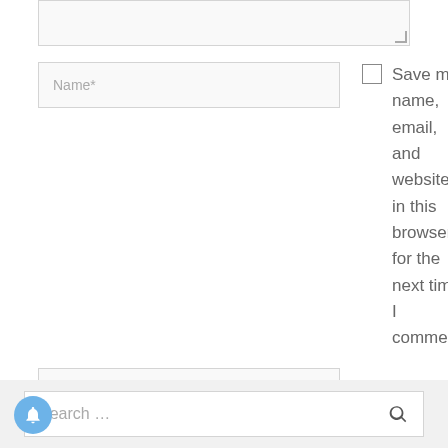[Figure (screenshot): Partial textarea input field at top of page with resize handle in bottom-right corner]
Name*
Save my name, email, and website in this browser for the next time I comment.
Email*
Website
Post Comment »
Search …